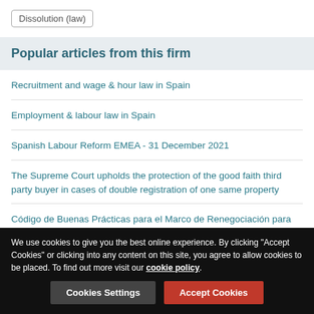Dissolution (law)
Popular articles from this firm
Recruitment and wage & hour law in Spain
Employment & labour law in Spain
Spanish Labour Reform EMEA - 31 December 2021
The Supreme Court upholds the protection of the good faith third party buyer in cases of double registration of one same property
Código de Buenas Prácticas para el Marco de Renegociación para Clientes con Financiación con Aval Público
We use cookies to give you the best online experience. By clicking "Accept Cookies" or clicking into any content on this site, you agree to allow cookies to be placed. To find out more visit our cookie policy.